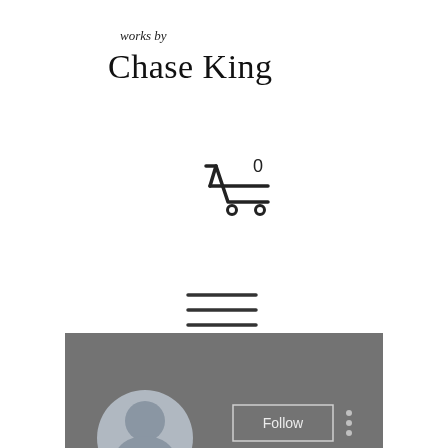works by
Chase King
[Figure (other): Shopping cart icon with number 0 badge]
[Figure (other): Hamburger menu icon (three horizontal lines)]
[Figure (screenshot): Dark gray profile section bar with circular avatar placeholder, Follow button, and three-dot menu]